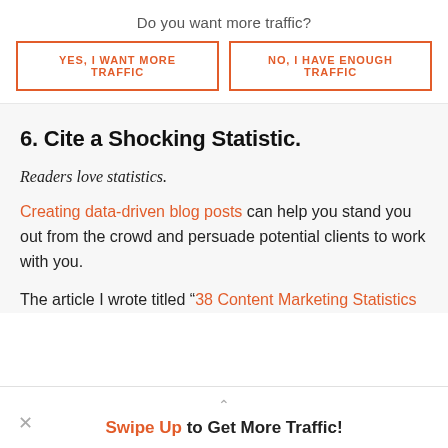Do you want more traffic?
YES, I WANT MORE TRAFFIC
NO, I HAVE ENOUGH TRAFFIC
6. Cite a Shocking Statistic.
Readers love statistics.
Creating data-driven blog posts can help you stand you out from the crowd and persuade potential clients to work with you.
The article I wrote titled “38 Content Marketing Statistics
Swipe Up to Get More Traffic!